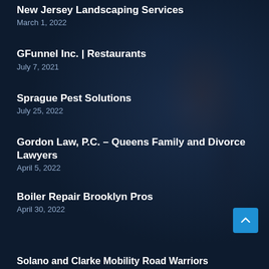New Jersey Landscaping Services
March 1, 2022
GFunnel Inc. | Restaurants
July 7, 2021
Sprague Pest Solutions
July 25, 2022
Gordon Law, P.C. – Queens Family and Divorce Lawyers
April 5, 2022
Boiler Repair Brooklyn Pros
April 30, 2022
Solano and Clarke Mobility Road Warriors